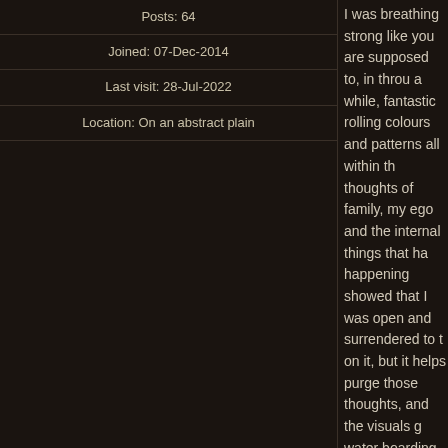Posts: 64
Joined: 07-Dec-2014
Last visit: 28-Jul-2022
Location: On an abstract plain
I was breathing strong like you are supposed to, in through a while, fantastic rolling colours and patterns all within the thoughts of family, my ego and the internal things that ha happening showed that I was open and surrendered to th on it, but it helps purge those thoughts, and the visuals g water boarding feeling..but not really) - An amazing sens says "He has some more work to do", and has the pipe r I inhale while still hallucinating but able to see the bushla The orb pulses hard again, water is splashing all over me not, it just feels like a purge on everything my subconscio fiercly. From somewhere tribal sounds are vibrating throu "yes, YES" "BREATHE" playing heavy in my head (was orgasmic blast with silence, but the orb is there and almo saying something along the lines of "THIS is what they h voice, but I am told it wasnt. I sit in this space in amazem feel like I have been in a jungle ceremony, but I start to c
Energizing, enlightening and healing. My clothes are com trees are swaying, more contrasty, more colourful. Whate visual effects last for another 20 minutes or so, and I qui medicine while laying back in nature.